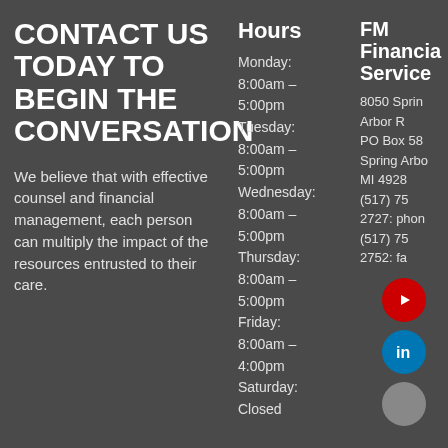CONTACT US TODAY TO BEGIN THE CONVERSATION
We believe that with effective counsel and financial management, each person can multiply the impact of the resources entrusted to their care.
Hours
Monday:
8:00am – 5:00pm
Tuesday:
8:00am – 5:00pm
Wednesday:
8:00am – 5:00pm
Thursday:
8:00am – 5:00pm
Friday:
8:00am – 4:00pm
Saturday:
Closed
FM Financial Services
8050 Spring Arbor Rd
PO Box 58
Spring Arbor,
MI 4928
(517) 75 2727: phone
(517) 75 2752: fax
[Figure (logo): YouTube icon - red circle with white play button triangle]
[Figure (logo): LinkedIn icon - blue circle with white 'in' text]
[Figure (logo): Gray circle social media icon]